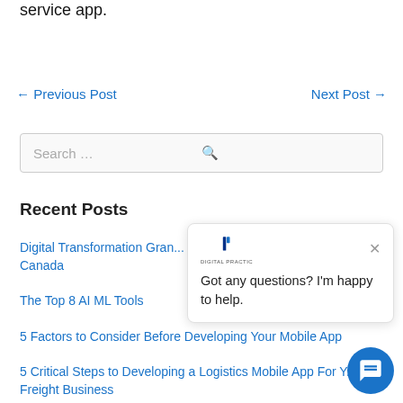service app.
← Previous Post    Next Post →
Search ...
Recent Posts
Digital Transformation Gran... Canada
The Top 8 AI ML Tools
5 Factors to Consider Before Developing Your Mobile App
5 Critical Steps to Developing a Logistics Mobile App For Y... Freight Business